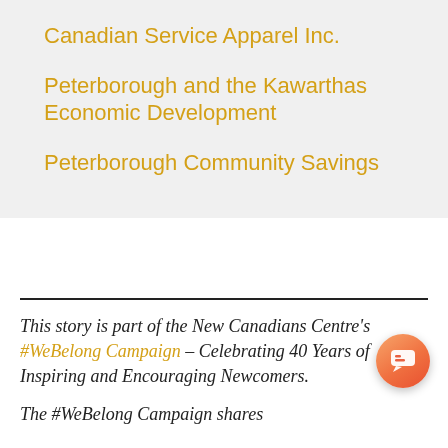Canadian Service Apparel Inc.
Peterborough and the Kawarthas Economic Development
Peterborough Community Savings
This story is part of the New Canadians Centre's #WeBelong Campaign – Celebrating 40 Years of Inspiring and Encouraging Newcomers.
The #WeBelong Campaign shares